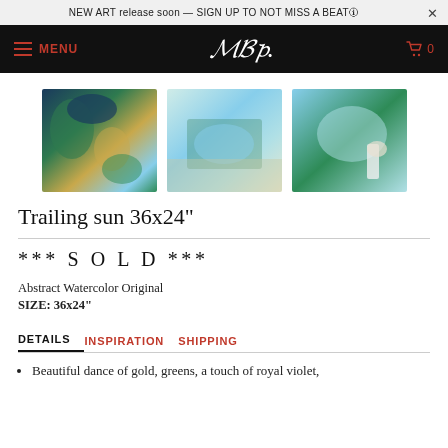NEW ART release soon — SIGN UP TO NOT MISS A BEAT🛈
MENU  [logo]  🛒 0
[Figure (photo): Three product images: abstract watercolor painting with blue/green/gold tones, artist painting process, and close-up of painting with hand holding brush]
Trailing sun 36x24"
*** S O L D ***
Abstract Watercolor Original
SIZE: 36x24"
DETAILS   INSPIRATION   SHIPPING
Beautiful dance of gold, greens, a touch of royal violet,